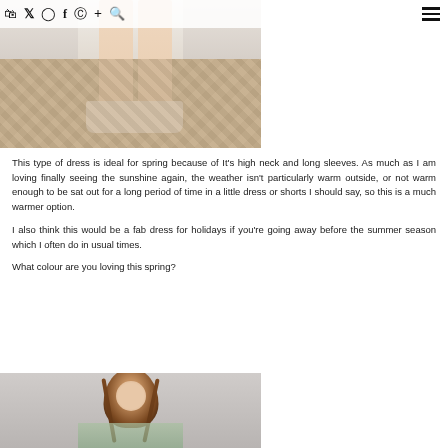🛍 🐦 📷 f 𝗣 + 🔍  ☰
[Figure (photo): Close-up of a person's legs wearing a white floral dress and white slide heels, standing on herringbone wood floor]
This type of dress is ideal for spring because of It's high neck and long sleeves. As much as I am loving finally seeing the sunshine again, the weather isn't particularly warm outside, or not warm enough to be sat out for a long period of time in a little dress or shorts I should say, so this is a much warmer option.
I also think this would be a fab dress for holidays if you're going away before the summer season which I often do in usual times.
What colour are you loving this spring?
[Figure (photo): Portrait photo of a brunette woman looking down, wearing a floral patterned dress, against a light gray background]